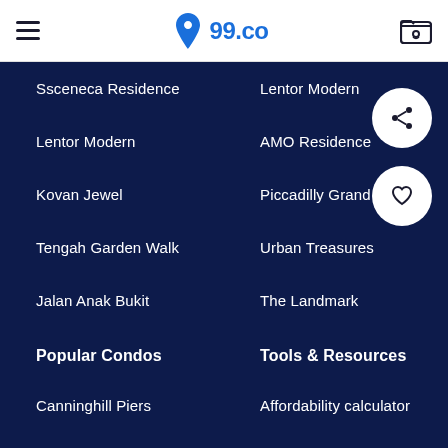99.co navigation header
Ssceneca Residence
Lentor Modern
Lentor Modern
AMO Residence
Kovan Jewel
Piccadilly Grand
Tengah Garden Walk
Urban Treasures
Jalan Anak Bukit
The Landmark
Popular Condos
Tools & Resources
Canninghill Piers
Affordability calculator
Treasure at Tampines
Stamp duty calculator